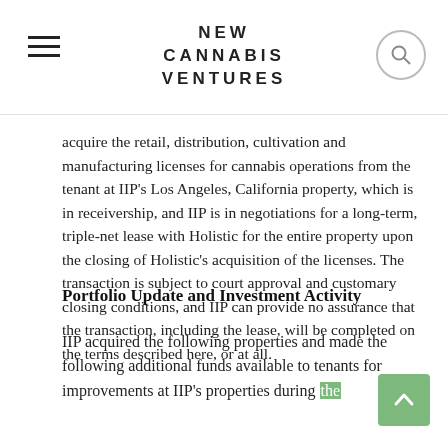NEW CANNABIS VENTURES
acquire the retail, distribution, cultivation and manufacturing licenses for cannabis operations from the tenant at IIP's Los Angeles, California property, which is in receivership, and IIP is in negotiations for a long-term, triple-net lease with Holistic for the entire property upon the closing of Holistic's acquisition of the licenses. The transaction is subject to court approval and customary closing conditions, and IIP can provide no assurance that the transaction, including the lease, will be completed on the terms described here, or at all.
Portfolio Update and Investment Activity
IIP acquired the following properties and made the following additional funds available to tenants for improvements at IIP's properties during the period from April 1, 2022 through August 5, 2022...